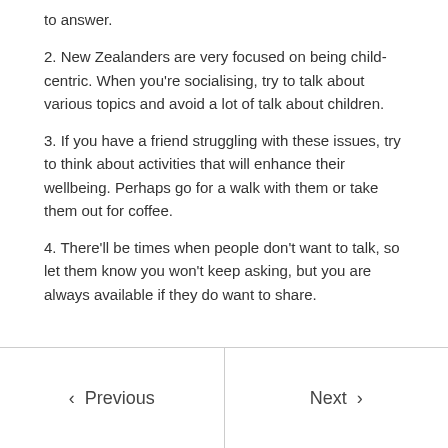to answer.
2. New Zealanders are very focused on being child-centric. When you're socialising, try to talk about various topics and avoid a lot of talk about children.
3. If you have a friend struggling with these issues, try to think about activities that will enhance their wellbeing. Perhaps go for a walk with them or take them out for coffee.
4. There'll be times when people don't want to talk, so let them know you won't keep asking, but you are always available if they do want to share.
< Previous   Next >